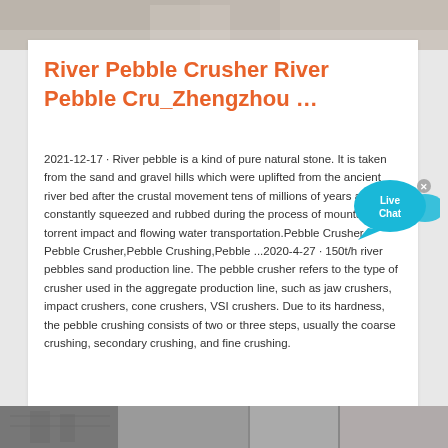[Figure (photo): Top image strip showing industrial/construction equipment, partially visible at top of page]
River Pebble Crusher River Pebble Cru_Zhengzhou …
2021-12-17 · River pebble is a kind of pure natural stone. It is taken from the sand and gravel hills which were uplifted from the ancient river bed after the crustal movement tens of millions of years ago. It is constantly squeezed and rubbed during the process of mountain torrent impact and flowing water transportation.Pebble Crusher-Pebble Crusher,Pebble Crushing,Pebble ...2020-4-27 · 150t/h river pebbles sand production line. The pebble crusher refers to the type of crusher used in the aggregate production line, such as jaw crushers, impact crushers, cone crushers, VSI crushers. Due to its hardness, the pebble crushing consists of two or three steps, usually the coarse crushing, secondary crushing, and fine crushing.
[Figure (photo): Bottom image strip showing industrial crushing/mining equipment]
[Figure (other): Live Chat button widget — blue circular speech bubble with 'Live Chat' text and close button]